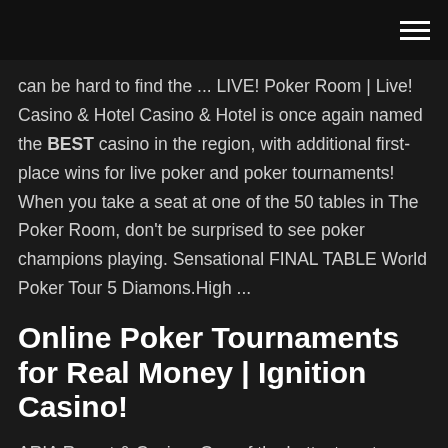can be hard to find the ... LIVE! Poker Room | Live! Casino & Hotel Casino & Hotel is once again named the BEST casino in the region, with additional first-place wins for live poker and poker tournaments! When you take a seat at one of the 50 tables in The Poker Room, don't be surprised to see poker champions playing. Sensational FINAL TABLE World Poker Tour 5 Diamons.High ...
Online Poker Tournaments for Real Money | Ignition Casino!
ARIA Resort & Casino: One of the hottest spots on the Strip, ARIA Resort & Casino is a great first stop on your poker-tournament tour of Las Vegas. With a killer ambience, you can grab a drink at the bar and get ready for your big